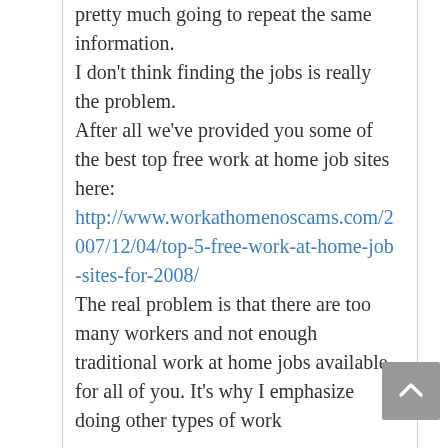pretty much going to repeat the same information.

I don't think finding the jobs is really the problem.
After all we've provided you some of the best top free work at home job sites here:
http://www.workathomenoscams.com/2007/12/04/top-5-free-work-at-home-job-sites-for-2008/

The real problem is that there are too many workers and not enough traditional work at home jobs available for all of you. It's why I emphasize doing other types of work